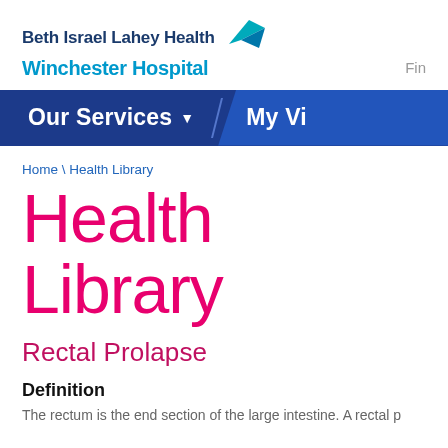[Figure (logo): Beth Israel Lahey Health Winchester Hospital logo with teal arrow/bird icon]
Fin
[Figure (screenshot): Blue navigation bar with 'Our Services' dropdown and 'My Vi...' menu items]
Home \ Health Library
Health Library
Rectal Prolapse
Definition
The rectum is the end section of the large intestine. A rectal p